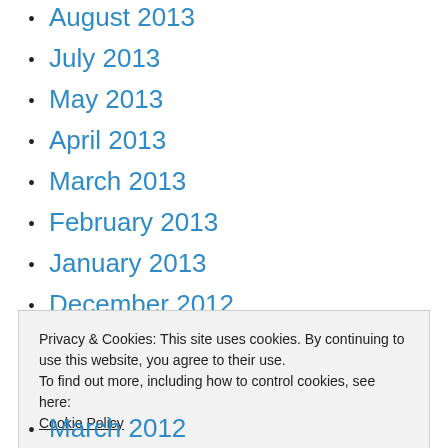August 2013
July 2013
May 2013
April 2013
March 2013
February 2013
January 2013
December 2012
November 2012
October 2012
September 2012
Privacy & Cookies: This site uses cookies. By continuing to use this website, you agree to their use.
To find out more, including how to control cookies, see here: Cookie Policy
March 2012